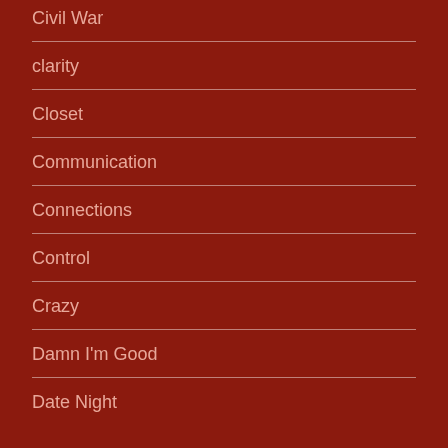Civil War
clarity
Closet
Communication
Connections
Control
Crazy
Damn I'm Good
Date Night